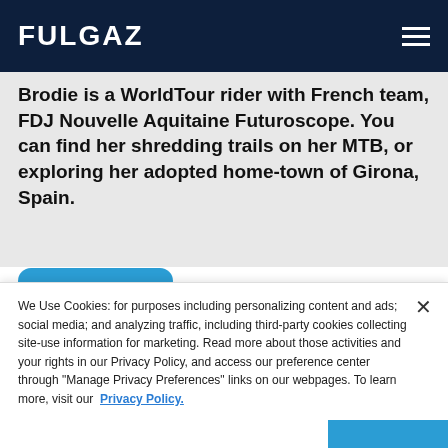FULGAZ
Brodie is a WorldTour rider with French team, FDJ Nouvelle Aquitaine Futuroscope. You can find her shredding trails on her MTB, or exploring her adopted home-town of Girona, Spain.
We Use Cookies: for purposes including personalizing content and ads; social media; and analyzing traffic, including third-party cookies collecting site-use information for marketing. Read more about those activities and your rights in our Privacy Policy, and access our preference center through "Manage Privacy Preferences" links on our webpages. To learn more, visit our Privacy Policy.